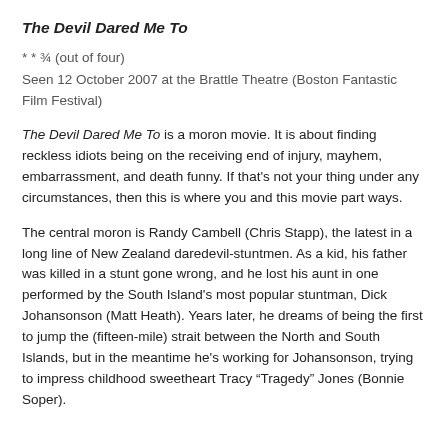The Devil Dared Me To
* * ¾ (out of four)
Seen 12 October 2007 at the Brattle Theatre (Boston Fantastic Film Festival)
The Devil Dared Me To is a moron movie. It is about finding reckless idiots being on the receiving end of injury, mayhem, embarrassment, and death funny. If that's not your thing under any circumstances, then this is where you and this movie part ways.
The central moron is Randy Cambell (Chris Stapp), the latest in a long line of New Zealand daredevil-stuntmen. As a kid, his father was killed in a stunt gone wrong, and he lost his aunt in one performed by the South Island's most popular stuntman, Dick Johansonson (Matt Heath). Years later, he dreams of being the first to jump the (fifteen-mile) strait between the North and South Islands, but in the meantime he's working for Johansonson, trying to impress childhood sweetheart Tracy "Tragedy" Jones (Bonnie Soper).